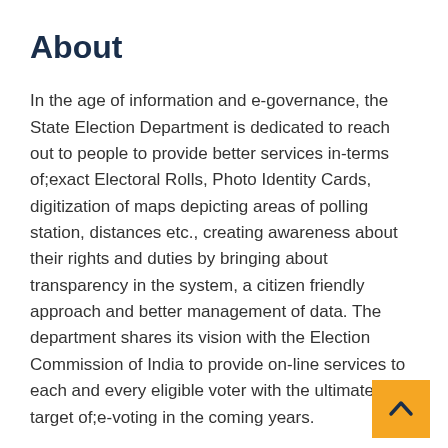About
In the age of information and e-governance, the State Election Department is dedicated to reach out to people to provide better services in-terms of;exact Electoral Rolls, Photo Identity Cards, digitization of maps depicting areas of polling station, distances etc., creating awareness about their rights and duties by bringing about transparency in the system, a citizen friendly approach and better management of data. The department shares its vision with the Election Commission of India to provide on-line services to each and every eligible voter with the ultimate target of;e-voting in the coming years.
Elections cannot be viewed as a stand-alone event but it is a part of an analytical approach for promoting democratic governance. Greater public information & outreach capacity, transparency, capacity building and empowerment of the citizens are the key areas, which are